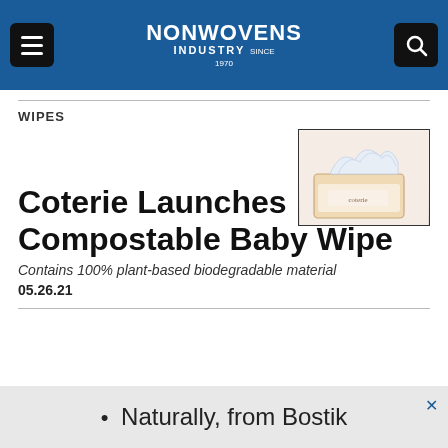NONWOVENS INDUSTRY
WIPES
[Figure (photo): Product photo of Coterie compostable baby wipes package, showing white wipes emerging from a box on a light pink/beige background]
Coterie Launches Compostable Baby Wipe
Contains 100% plant-based biodegradable material
05.26.21
• Naturally, from Bostik